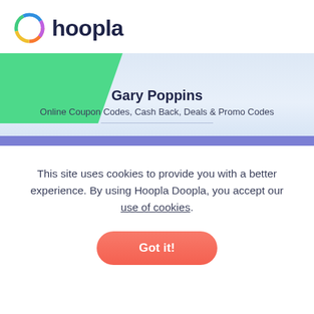[Figure (logo): Hoopla logo: colorful circular ring icon followed by bold dark navy text 'hoopla']
[Figure (illustration): Banner section with light blue gradient background and green geometric parallelogram shape on the left]
Gary Poppins
Online Coupon Codes, Cash Back, Deals & Promo Codes
This site uses cookies to provide you with a better experience. By using Hoopla Doopla, you accept our use of cookies.
Got it!